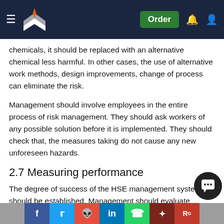Navigation bar with logo, Order button, notification and user icons
chemicals, it should be replaced with an alternative chemical less harmful. In other cases, the use of alternative work methods, design improvements, change of process can eliminate the risk.
Management should involve employees in the entire process of risk management. They should ask workers of any possible solution before it is implemented. They should check that, the measures taking do not cause any new unforeseen hazards.
2.7 Measuring performance
The degree of success of the HSE management system should be established. Management should evaluate systems to know if the objectives of implementation is being realised. Performance measurement will help management to collect and analyse information about